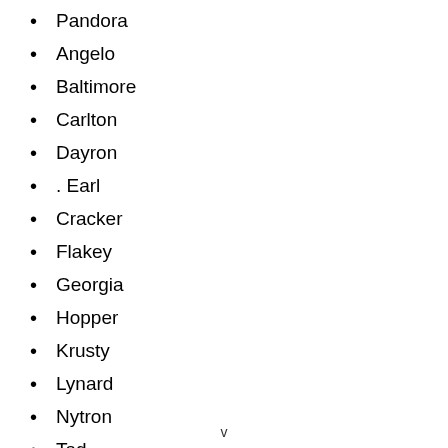Pandora
Angelo
Baltimore
Carlton
Dayron
. Earl
Cracker
Flakey
Georgia
Hopper
Krusty
Lynard
Nytron
Tad
v